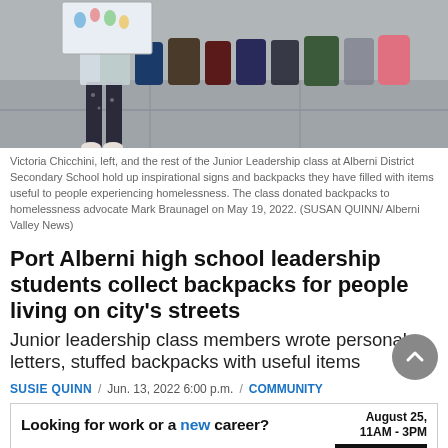[Figure (photo): Photo of students from Junior Leadership class at Alberni District Secondary School holding up inspirational signs and backpacks on a sidewalk.]
Victoria Chicchini, left, and the rest of the Junior Leadership class at Alberni District Secondary School hold up inspirational signs and backpacks they have filled with items useful to people experiencing homelessness. The class donated backpacks to homelessness advocate Mark Braunagel on May 19, 2022. (SUSAN QUINN/ Alberni Valley News)
Port Alberni high school leadership students collect backpacks for people living on city's streets
Junior leadership class members wrote personal letters, stuffed backpacks with useful items
SUSIE QUINN  /  Jun. 13, 2022 6:00 p.m.  /  COMMUNITY
[Figure (infographic): Advertisement banner: Looking for work or a new career? August 25, 11AM-3PM. Featuring 25+ Exhibitors and Growing! CLICK HERE]